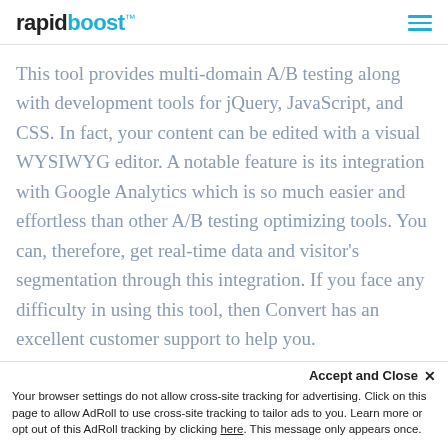rapidboost™
This tool provides multi-domain A/B testing along with development tools for jQuery, JavaScript, and CSS. In fact, your content can be edited with a visual WYSIWYG editor. A notable feature is its integration with Google Analytics which is so much easier and effortless than other A/B testing optimizing tools. You can, therefore, get real-time data and visitor's segmentation through this integration. If you face any difficulty in using this tool, then Convert has an excellent customer support to help you.
Accept and Close ×
Your browser settings do not allow cross-site tracking for advertising. Click on this page to allow AdRoll to use cross-site tracking to tailor ads to you. Learn more or opt out of this AdRoll tracking by clicking here. This message only appears once.